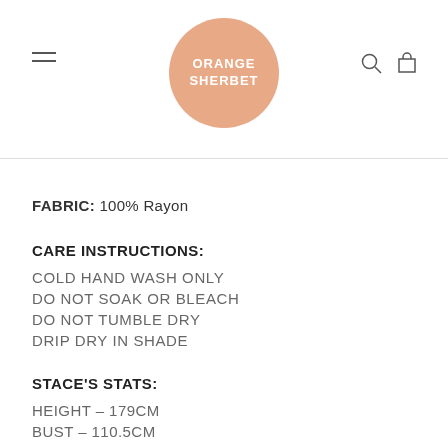Orange Sherbet logo with hamburger menu, search icon, and cart icon
FABRIC: 100% Rayon
CARE INSTRUCTIONS:
COLD HAND WASH ONLY
DO NOT SOAK OR BLEACH
DO NOT TUMBLE DRY
DRIP DRY IN SHADE
STACE'S STATS:
HEIGHT – 179cm
BUST – 110.5cm
WAIST – 89.5cm
HIP – 116.5cm